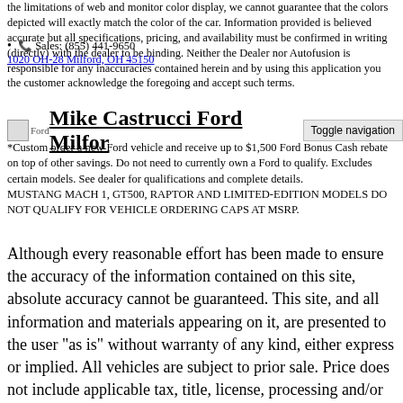the limitations of web and monitor color display, we cannot guarantee that the colors depicted will exactly match the color of the car. Information provided is believed accurate but all specifications, pricing, and availability must be confirmed in writing (directly) with the dealer to be binding. Neither the Dealer nor Autofusion is responsible for any inaccuracies contained herein and by using this application you the customer acknowledge the foregoing and accept such terms.
📞 Sales: (855) 441-9650
1020 OH-28 Milford, OH 45150
Mike Castrucci Ford Milfor
*Custom order a new Ford vehicle and receive up to $1,500 Ford Bonus Cash rebate on top of other savings. Do not need to currently own a Ford to qualify. Excludes certain models. See dealer for qualifications and complete details. MUSTANG MACH 1, GT500, RAPTOR AND LIMITED-EDITION MODELS DO NOT QUALIFY FOR VEHICLE ORDERING CAPS AT MSRP.
Although every reasonable effort has been made to ensure the accuracy of the information contained on this site, absolute accuracy cannot be guaranteed. This site, and all information and materials appearing on it, are presented to the user "as is" without warranty of any kind, either express or implied. All vehicles are subject to prior sale. Price does not include applicable tax, title, license, processing and/or documentation fees of $250.00. ‡Vehicles shown at different locations are not currently in our inventory (Not in Stock) but can be made available to you at our location within a reasonable date from the time of your request, not to exceed one week.